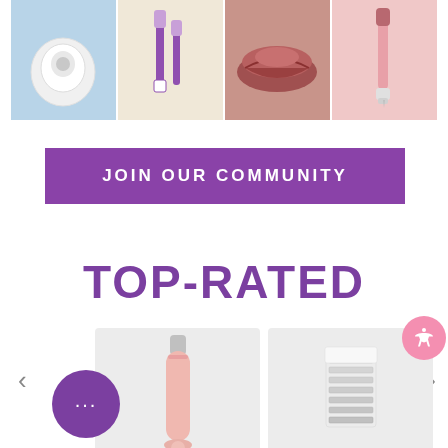[Figure (photo): Four product/lifestyle photos in a horizontal row: a round white device on blue background, beauty pen products on cream background, close-up of lips, and a pink beauty pen on pink background]
[Figure (other): Purple rectangular button reading JOIN OUR COMMUNITY in white bold uppercase letters]
TOP-RATED
[Figure (photo): Product image of SIMA - Sonic D... (sonic dermaplaning device, pink/rose) with star rating (921 reviews)]
SIMA - Sonic D... ★★★★½ (921)
[Figure (photo): Product image of SIMA Replace... (replacement blades/cartridges) with star rating (109 reviews)]
SIMA Replace... ★★★★★ (109)